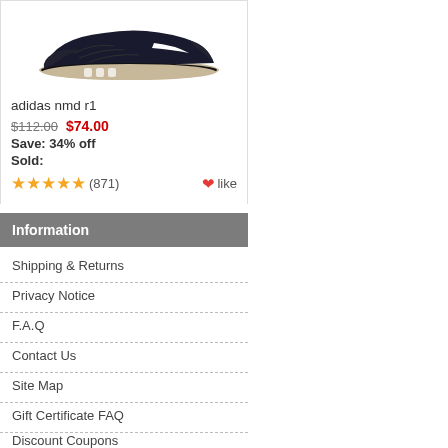[Figure (photo): Black Adidas NMD R1 sneaker shoe on white background]
adidas nmd r1
$112.00  $74.00
Save: 34% off
Sold:
★★★★★ (871)   ❤like
Information
Shipping & Returns
Privacy Notice
F.A.Q
Contact Us
Site Map
Gift Certificate FAQ
Discount Coupons
Newsletter Unsubscribe